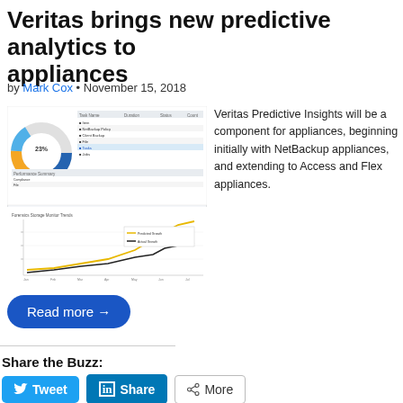Veritas brings new predictive analytics to appliances
by Mark Cox • November 15, 2018
[Figure (screenshot): Screenshot of Veritas Predictive Insights dashboard showing a donut chart and data table on top, and a line chart with two lines (black and yellow/gold) on the bottom.]
Veritas Predictive Insights will be a component for appliances, beginning initially with NetBackup appliances, and extending to Access and Flex app...
Read more →
Share the Buzz:
Tweet  Share  More